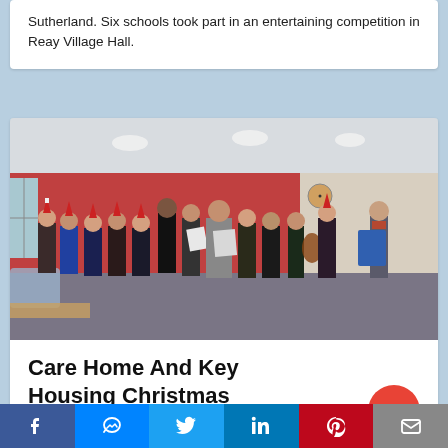Sutherland. Six schools took part in an entertaining competition in Reay Village Hall.
[Figure (photo): Group of carol singers wearing Santa hats performing in a care home common room with red walls and ceiling lights. A conductor/leader stands on the right holding a blue folder.]
Care Home And Key Housing Christmas Carol Singers 2017
Social sharing bar with Facebook, Messenger, Twitter, LinkedIn, Pinterest, Email buttons